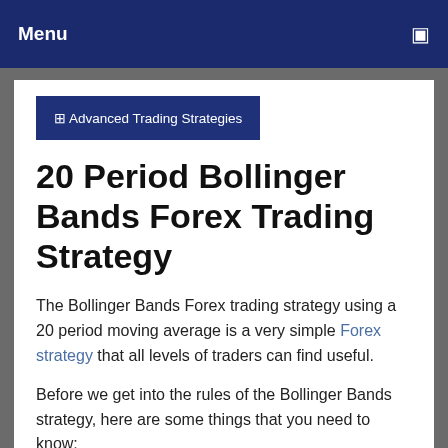Menu
⊞ Advanced Trading Strategies
20 Period Bollinger Bands Forex Trading Strategy
The Bollinger Bands Forex trading strategy using a 20 period moving average is a very simple Forex strategy that all levels of traders can find useful.
Before we get into the rules of the Bollinger Bands strategy, here are some things that you need to know:
If price is moving below the 20 period moving average(the